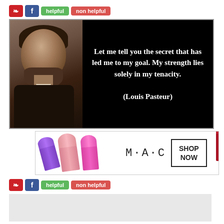[Figure (screenshot): Social sharing buttons: Pinterest (red), Facebook (blue), helpful (green button), non helpful (red button) at the top of the quote card]
[Figure (photo): Quote image card with dark/black background. Left side shows a sepia-toned portrait photograph of Louis Pasteur. Right side shows white text quote: 'Let me tell you the secret that has led me to my goal. My strength lies solely in my tenacity. (Louis Pasteur)']
[Figure (screenshot): MAC cosmetics advertisement banner showing colorful lipsticks (purple, pink, hot pink, red), MAC logo text, and SHOP NOW button in a box border]
[Figure (screenshot): Social sharing buttons: Pinterest (red), Facebook (blue), helpful (green button), non helpful (red button) at the bottom]
[Figure (screenshot): Light gray comment/content area below the social buttons]